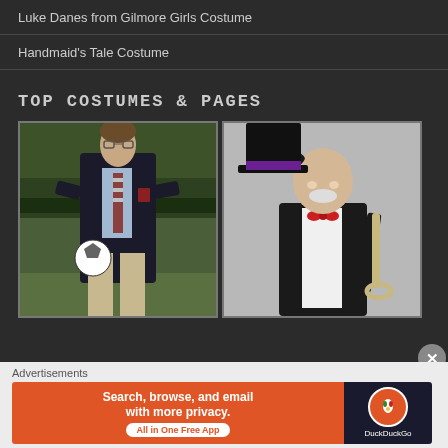Luke Danes from Gilmore Girls Costume
Handmaid's Tale Costume
TOP COSTUMES & PAGES
[Figure (photo): Man in a dark blazer with a striped tie holding a soccer ball, standing outdoors on grass with hedges in background, wearing khaki trousers]
[Figure (photo): Person in a Monopoly Man costume: bald cap, white mustache, black tuxedo jacket, white shirt, red bow tie, holding a black top hat with purple band and a cane]
Advertisements
[Figure (screenshot): DuckDuckGo advertisement banner: orange background with text 'Search, browse, and email with more privacy. All in One Free App' and DuckDuckGo logo on dark background]